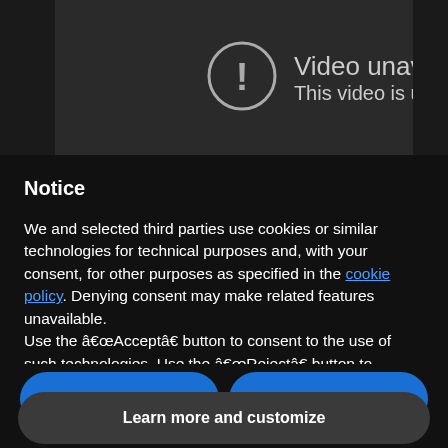[Figure (screenshot): Dark video player showing unavailable video error with exclamation mark in circle icon and truncated text 'Video unava...' and 'This video is u...' on dark background]
Notice
We and selected third parties use cookies or similar technologies for technical purposes and, with your consent, for other purposes as specified in the cookie policy. Denying consent may make related features unavailable.
Use the â€œAcceptâ€� button to consent to the use of such technologies. Use the â€œRejectâ€� button to continue without accepting.